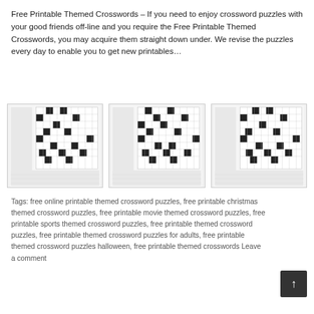Free Printable Themed Crosswords – If you need to enjoy crossword puzzles with your good friends off-line and you require the Free Printable Themed Crosswords, you may acquire them straight down under. We revise the puzzles every day to enable you to get new printables…
[Figure (illustration): Three crossword puzzle images shown side by side]
Tags: free online printable themed crossword puzzles, free printable christmas themed crossword puzzles, free printable movie themed crossword puzzles, free printable sports themed crossword puzzles, free printable themed crossword puzzles, free printable themed crossword puzzles for adults, free printable themed crossword puzzles halloween, free printable themed crosswords Leave a comment